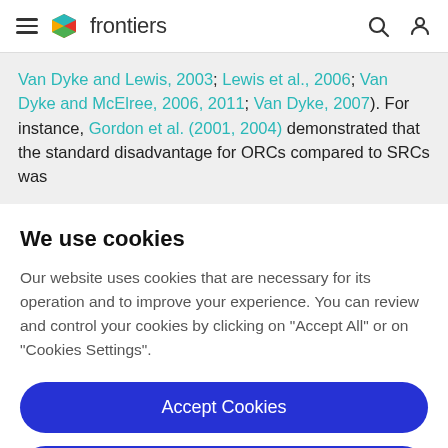frontiers (navigation header with hamburger menu, logo, search and user icons)
Van Dyke and Lewis, 2003; Lewis et al., 2006; Van Dyke and McElree, 2006, 2011; Van Dyke, 2007). For instance, Gordon et al. (2001, 2004) demonstrated that the standard disadvantage for ORCs compared to SRCs was
We use cookies
Our website uses cookies that are necessary for its operation and to improve your experience. You can review and control your cookies by clicking on "Accept All" or on "Cookies Settings".
Accept Cookies
Cookies Settings